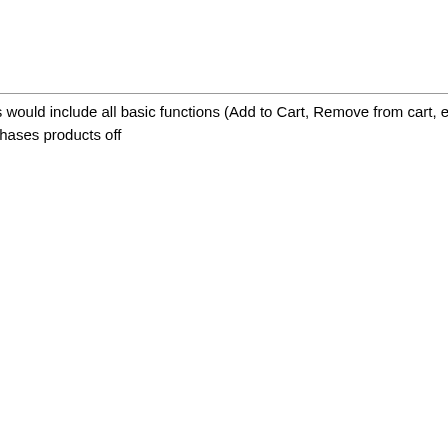|  | No. | Feature | Description |
| --- | --- | --- | --- |
|  |  |  | marketing professionals get to determine if their consumers are able to see what products their Facebook friends 'Like' or have purchased. |
|  | 3. | Shopping Cart Functions | Essentially, this would include all basic functions (Add to Cart, Remove from cart, etc) when a consumer purchases products off |